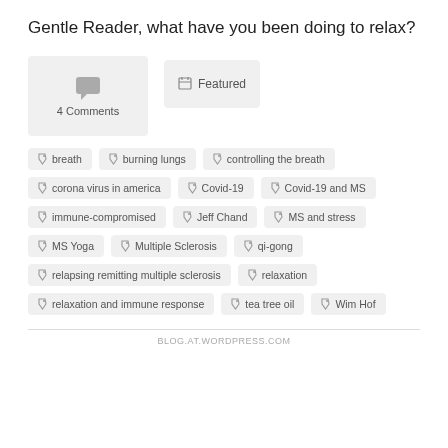Gentle Reader, what have you been doing to relax?
[Figure (other): 4 Comments box with speech bubble icon]
[Figure (other): Featured button with calendar icon]
breath
burning lungs
controlling the breath
corona virus in america
Covid-19
Covid-19 and MS
immune-compromised
Jeff Chand
MS and stress
MS Yoga
Multiple Sclerosis
qi-gong
relapsing remitting multiple sclerosis
relaxation
relaxation and immune response
tea tree oil
Wim Hof
BLOG.AT.WORDPRESS.COM